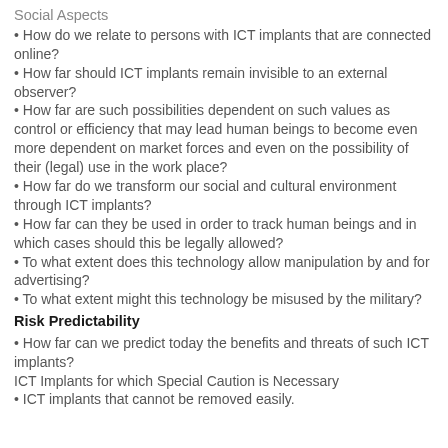Social Aspects
• How do we relate to persons with ICT implants that are connected online?
• How far should ICT implants remain invisible to an external observer?
• How far are such possibilities dependent on such values as control or efficiency that may lead human beings to become even more dependent on market forces and even on the possibility of their (legal) use in the work place?
• How far do we transform our social and cultural environment through ICT implants?
• How far can they be used in order to track human beings and in which cases should this be legally allowed?
• To what extent does this technology allow manipulation by and for advertising?
• To what extent might this technology be misused by the military?
Risk Predictability
• How far can we predict today the benefits and threats of such ICT implants?
ICT Implants for which Special Caution is Necessary
• ICT implants that cannot be removed easily.